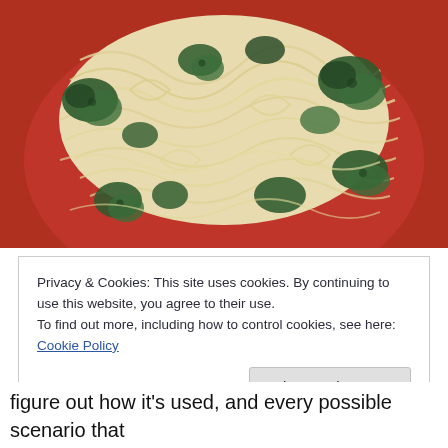[Figure (photo): A plate of spaghetti noodles mixed with cooked dark green spinach or similar leafy greens, served on a red plate, photographed from above.]
Privacy & Cookies: This site uses cookies. By continuing to use this website, you agree to their use.
To find out more, including how to control cookies, see here: Cookie Policy
figure out how it's used, and every possible scenario that